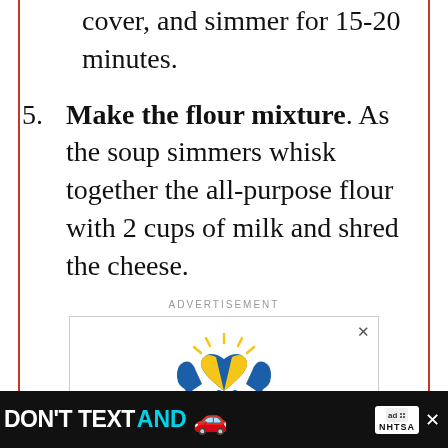cover, and simmer for 15-20 minutes.
5. Make the flour mixture. As the soup simmers whisk together the all-purpose flour with 2 cups of milk and shred the cheese.
ADVERTISEMENT
[Figure (infographic): Ukraine charity advertisement showing a blue and yellow heart with hands graphic. Text reads: YOU CAN HELP UKRAINIANS IN NEED. Even small monetary donations.]
[Figure (infographic): Bottom banner ad: DON'T TEXT AND [car emoji] with NHTSA logo and close/mute buttons.]